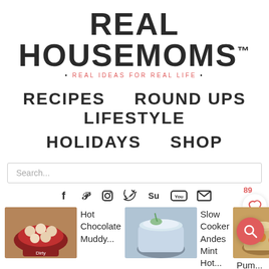REAL HOUSEMOMS™
• REAL IDEAS FOR REAL LIFE •
RECIPES   ROUND UPS   LIFESTYLE
HOLIDAYS   SHOP
Search...
89
[Figure (screenshot): Social media icons row: Facebook, Pinterest, Instagram, Twitter, StumbleUpon, YouTube, Email; heart favorite button with 89 count]
[Figure (photo): Hot Chocolate Muddy... recipe thumbnail with chocolatey snacks in a red cup]
Hot Chocolate Muddy...
[Figure (photo): Slow Cooker Andes Mint Hot... recipe thumbnail showing a creamy drink with garnish]
Slow Cooker Andes Mint Hot...
[Figure (photo): Pumpkin-themed hot chocolate recipe thumbnail]
Pum...
Home » 25 Hot Chocolate Recipes to Warm You Up